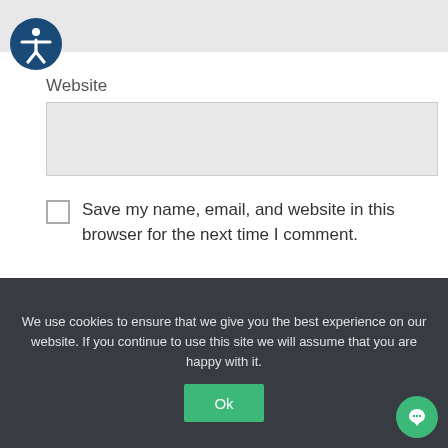[Figure (logo): Accessibility icon — white person figure in a dark blue circle]
Website
Save my name, email, and website in this browser for the next time I comment.
Post Comment
We use cookies to ensure that we give you the best experience on our website. If you continue to use this site we will assume that you are happy with it.
Ok